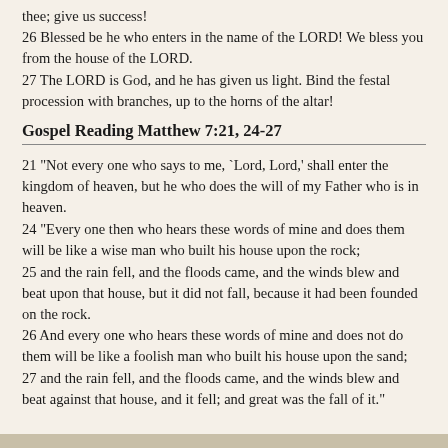thee; give us success!
26 Blessed be he who enters in the name of the LORD! We bless you from the house of the LORD.
27 The LORD is God, and he has given us light. Bind the festal procession with branches, up to the horns of the altar!
Gospel Reading Matthew 7:21, 24-27
21 "Not every one who says to me, `Lord, Lord,' shall enter the kingdom of heaven, but he who does the will of my Father who is in heaven.
24 "Every one then who hears these words of mine and does them will be like a wise man who built his house upon the rock;
25 and the rain fell, and the floods came, and the winds blew and beat upon that house, but it did not fall, because it had been founded on the rock.
26 And every one who hears these words of mine and does not do them will be like a foolish man who built his house upon the sand;
27 and the rain fell, and the floods came, and the winds blew and beat against that house, and it fell; and great was the fall of it."